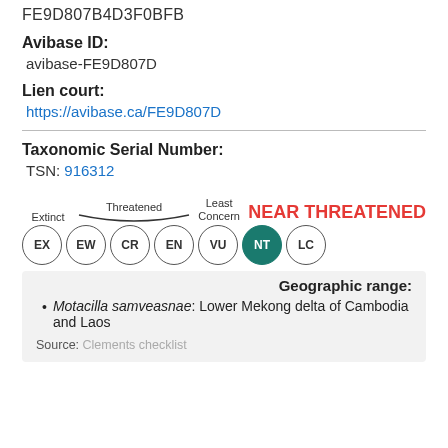FE9D807B4D3F0BFB
Avibase ID:
avibase-FE9D807D
Lien court:
https://avibase.ca/FE9D807D
Taxonomic Serial Number:
TSN: 916312
[Figure (infographic): IUCN conservation status scale showing circles labeled EX, EW, CR, EN, VU, NT (highlighted in teal), LC with labels for Extinct, Threatened, and Least Concern. Text reads NEAR THREATENED in red.]
Geographic range:
Motacilla samveasnae: Lower Mekong delta of Cambodia and Laos
Source: Clements checklist